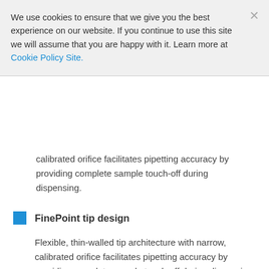We use cookies to ensure that we give you the best experience on our website. If you continue to use this site we will assume that you are happy with it. Learn more at Cookie Policy Site.
calibrated orifice facilitates pipetting accuracy by providing complete sample touch-off during dispensing.
FinePoint tip design
Flexible, thin-walled tip architecture with narrow, calibrated orifice facilitates pipetting accuracy by providing complete sample touch-off during dispensing.
Product Specifications